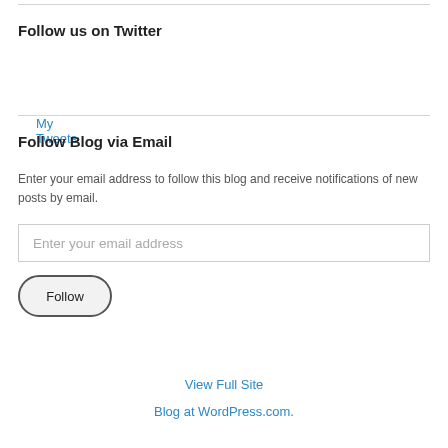Follow us on Twitter
My Tweets
Follow Blog via Email
Enter your email address to follow this blog and receive notifications of new posts by email.
Enter your email address
Follow
View Full Site
Blog at WordPress.com.